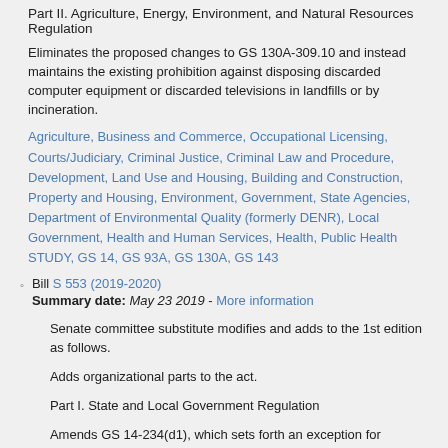Part II. Agriculture, Energy, Environment, and Natural Resources Regulation
Eliminates the proposed changes to GS 130A-309.10 and instead maintains the existing prohibition against disposing discarded computer equipment or discarded televisions in landfills or by incineration.
Agriculture, Business and Commerce, Occupational Licensing, Courts/Judiciary, Criminal Justice, Criminal Law and Procedure, Development, Land Use and Housing, Building and Construction, Property and Housing, Environment, Government, State Agencies, Department of Environmental Quality (formerly DENR), Local Government, Health and Human Services, Health, Public Health STUDY, GS 14, GS 93A, GS 130A, GS 143
Bill S 553 (2019-2020) Summary date: May 23 2019 - More information
Senate committee substitute modifies and adds to the 1st edition as follows.
Adds organizational parts to the act.
Part I. State and Local Government Regulation
Amends GS 14-234(d1), which sets forth an exception for